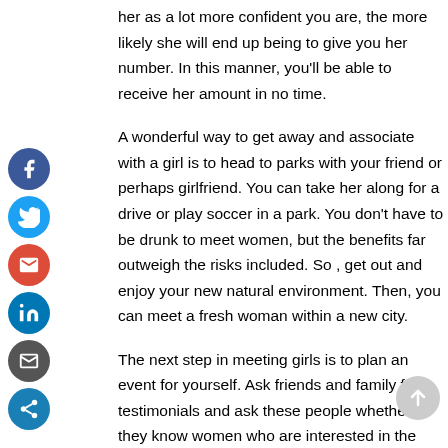her as a lot more confident you are, the more likely she will end up being to give you her number. In this manner, you'll be able to receive her amount in no time.
A wonderful way to get away and associate with a girl is to head to parks with your friend or perhaps girlfriend. You can take her along for a drive or play soccer in a park. You don't have to be drunk to meet women, but the benefits far outweigh the risks included. So , get out and enjoy your new natural environment. Then, you can meet a fresh woman within a new city.
The next step in meeting girls is to plan an event for yourself. Ask friends and family for testimonials and ask these people whether they know women who are interested in the same elements as you. Be sure to have matters of talk which have been interesting for both of you. Many women will be at
[Figure (other): Social media sharing sidebar with icons: Facebook (blue), Twitter (light blue), Gmail (red), LinkedIn (blue), Email (grey), Share (dark blue)]
[Figure (other): Scroll to top button - grey circle with upward arrow]